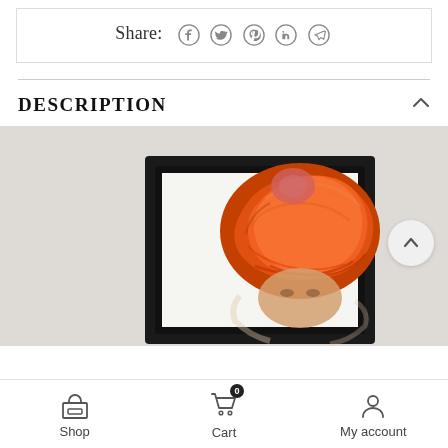Share: f  t  (pinterest)  in  (telegram)
DESCRIPTION
[Figure (photo): A framed oil painting portrait showing a man wearing a vivid orange-red turban, partially visible from the chest up, displayed in a black frame against a light grey wall background. The bottom of the image is cut off.]
Shop  Cart (0)  My account